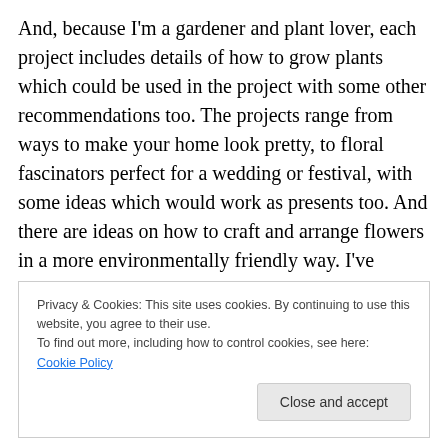And, because I'm a gardener and plant lover, each project includes details of how to grow plants which could be used in the project with some other recommendations too. The projects range from ways to make your home look pretty, to floral fascinators perfect for a wedding or festival, with some ideas which would work as presents too. And there are ideas on how to craft and arrange flowers in a more environmentally friendly way. I've included a range of projects; some are very easy, others a little more complicated but still achievable. Lots of them are fantastic for crafting with children and inspiring them to appreciate
Privacy & Cookies: This site uses cookies. By continuing to use this website, you agree to their use.
To find out more, including how to control cookies, see here: Cookie Policy
Close and accept